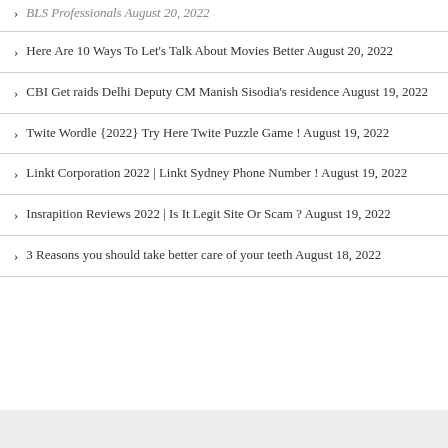Here Are 10 Ways To Let's Talk About Movies Better August 20, 2022
CBI Get raids Delhi Deputy CM Manish Sisodia's residence August 19, 2022
Twite Wordle {2022} Try Here Twite Puzzle Game ! August 19, 2022
Linkt Corporation 2022 | Linkt Sydney Phone Number ! August 19, 2022
Insrapition Reviews 2022 | Is It Legit Site Or Scam ? August 19, 2022
3 Reasons you should take better care of your teeth August 18, 2022